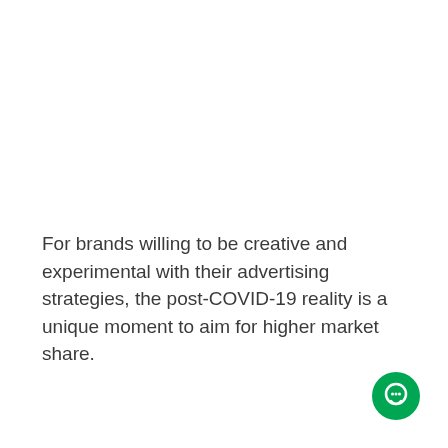For brands willing to be creative and experimental with their advertising strategies, the post-COVID-19 reality is a unique moment to aim for higher market share.
[Figure (illustration): Green circular chat/messaging icon with a white chat bubble symbol, positioned in bottom-right corner]